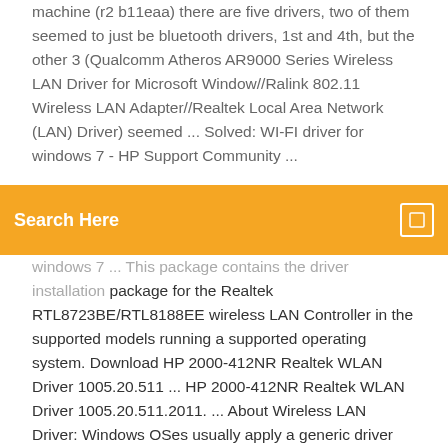machine (r2 b11eaa) there are five drivers, two of them seemed to just be bluetooth drivers, 1st and 4th, but the other 3 (Qualcomm Atheros AR9000 Series Wireless LAN Driver for Microsoft Window//Ralink 802.11 Wireless LAN Adapter//Realtek Local Area Network (LAN) Driver) seemed ... Solved: WI-FI driver for windows 7 - HP Support Community ...
[Figure (other): Orange search bar with text 'Search Here' and a small square icon on the right]
windows 7 ... This package contains the driver installation package for the Realtek RTL8723BE/RTL8188EE wireless LAN Controller in the supported models running a supported operating system. Download HP 2000-412NR Realtek WLAN Driver 1005.20.511 ... HP 2000-412NR Realtek WLAN Driver 1005.20.511.2011. ... About Wireless LAN Driver: Windows OSes usually apply a generic driver that allows systems to recognize the wireless component. However, in order to use all available features of this hardware, you must install the appropriate drivers.